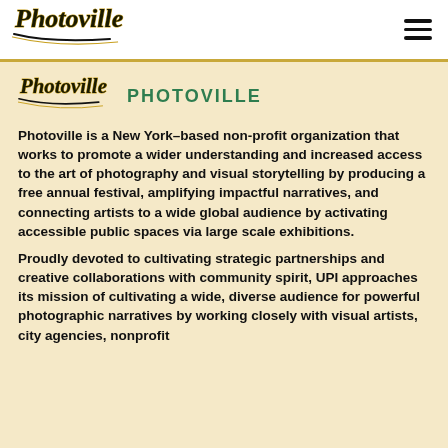[Figure (logo): Photoville script logo in top white navigation bar]
[Figure (logo): Photoville script logo (smaller) in content area beside section title]
PHOTOVILLE
Photoville is a New York-based non-profit organization that works to promote a wider understanding and increased access to the art of photography and visual storytelling by producing a free annual festival, amplifying impactful narratives, and connecting artists to a wide global audience by activating accessible public spaces via large scale exhibitions.
Proudly devoted to cultivating strategic partnerships and creative collaborations with community spirit, UPI approaches its mission of cultivating a wide, diverse audience for powerful photographic narratives by working closely with visual artists, city agencies, nonprofit